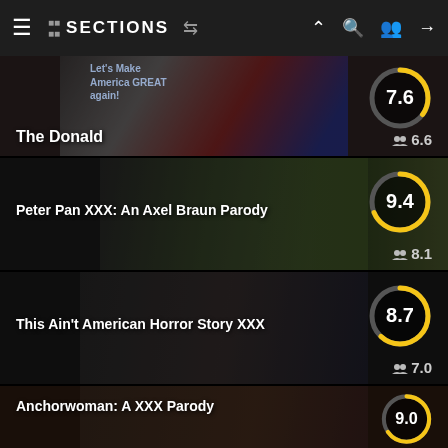≡  ⠿ SECTIONS  ⇌  [icons: up, search, user+, logout]
[Figure (screenshot): Movie listing card: 'The Donald' with score 7.6 (circle) and user score 6.6]
[Figure (screenshot): Movie listing card: 'Peter Pan XXX: An Axel Braun Parody' with score 9.4 (circle) and user score 8.1]
[Figure (screenshot): Movie listing card: 'This Ain't American Horror Story XXX' with score 8.7 (circle) and user score 7.0]
[Figure (screenshot): Movie listing card: 'Anchorwoman: A XXX Parody' with score 9.0 (partially visible at bottom)]